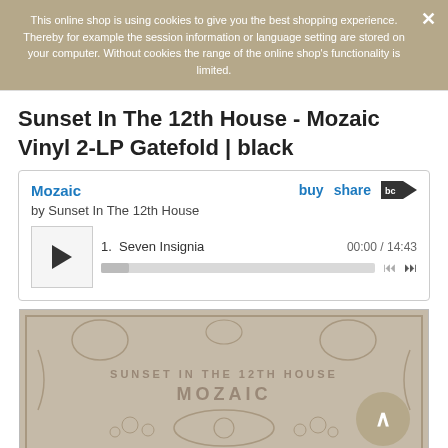This online shop is using cookies to give you the best shopping experience. Thereby for example the session information or language setting are stored on your computer. Without cookies the range of the online shop's functionality is limited.
Sunset In The 12th House - Mozaic Vinyl 2-LP Gatefold | black
[Figure (screenshot): Embedded Bandcamp music player showing album 'Mozaic' by Sunset In The 12th House, with track 1 'Seven Insignia' (00:00 / 14:43), play button, progress bar, and navigation controls. Includes buy, share, and Bandcamp logo links.]
[Figure (photo): Album art for 'Mozaic' by Sunset In The 12th House showing ornate illustrated artwork in beige/grey tones with text 'SUNSET IN THE 12TH HOUSE' and 'MOZAIC' overlaid.]